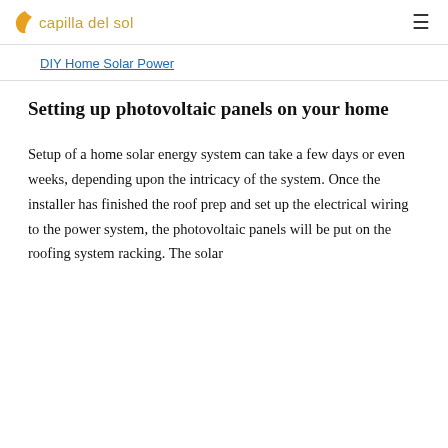capilla del sol
DIY Home Solar Power
Setting up photovoltaic panels on your home
Setup of a home solar energy system can take a few days or even weeks, depending upon the intricacy of the system. Once the installer has finished the roof prep and set up the electrical wiring to the power system, the photovoltaic panels will be put on the roofing system racking. The solar